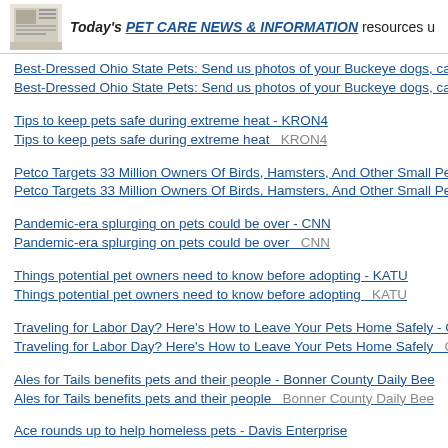Today's PET CARE NEWS & INFORMATION resources u...
Best-Dressed Ohio State Pets: Send us photos of your Buckeye dogs, ca...
Best-Dressed Ohio State Pets: Send us photos of your Buckeye dogs, ca...
Tips to keep pets safe during extreme heat - KRON4
Tips to keep pets safe during extreme heat  KRON4
Petco Targets 33 Million Owners Of Birds, Hamsters, And Other Small Pe...
Petco Targets 33 Million Owners Of Birds, Hamsters, And Other Small Pe...
Pandemic-era splurging on pets could be over - CNN
Pandemic-era splurging on pets could be over  CNN
Things potential pet owners need to know before adopting - KATU
Things potential pet owners need to know before adopting  KATU
Traveling for Labor Day? Here's How to Leave Your Pets Home Safely - G...
Traveling for Labor Day? Here's How to Leave Your Pets Home Safely  G...
Ales for Tails benefits pets and their people - Bonner County Daily Bee
Ales for Tails benefits pets and their people  Bonner County Daily Bee
Ace rounds up to help homeless pets - Davis Enterprise